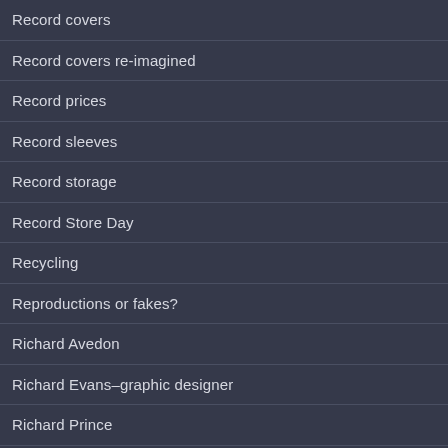Record covers
Record covers re-imagined
Record prices
Record sleeves
Record storage
Record Store Day
Recycling
Reproductions or fakes?
Richard Avedon
Richard Evans–graphic designer
Richard Prince
Robert del Naja
Rock Posters